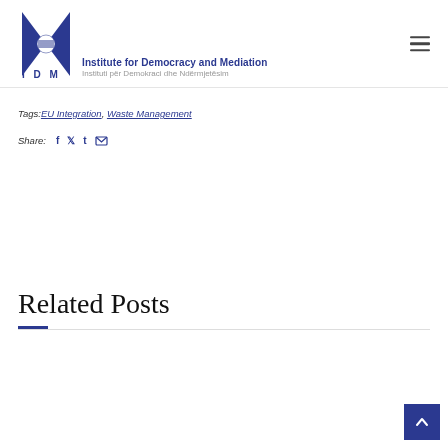Institute for Democracy and Mediation — IDM — Instituti për Demokraci dhe Ndërmjetësim
Tags: EU Integration, Waste Management
Share:
Related Posts